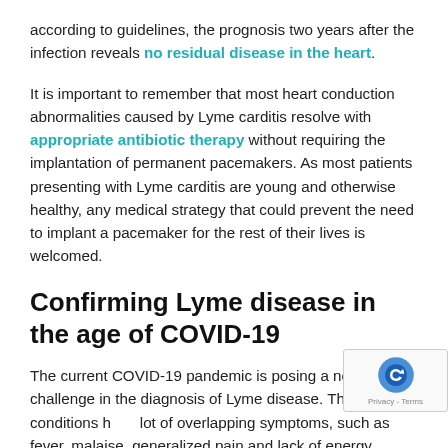according to guidelines, the prognosis two years after the infection reveals no residual disease in the heart.
It is important to remember that most heart conduction abnormalities caused by Lyme carditis resolve with appropriate antibiotic therapy without requiring the implantation of permanent pacemakers. As most patients presenting with Lyme carditis are young and otherwise healthy, any medical strategy that could prevent the need to implant a pacemaker for the rest of their lives is welcomed.
Confirming Lyme disease in the age of COVID-19
The current COVID-19 pandemic is posing a new challenge in the diagnosis of Lyme disease. The two conditions have a lot of overlapping symptoms, such as fever, malaise, generalized pain and lack of energy. During these times it is advisable to rule out COVID-19 first before embarking on a...